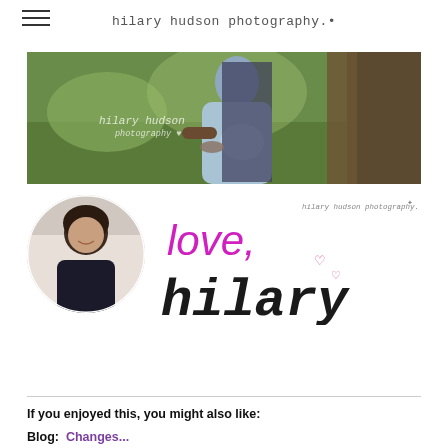hilary hudson photography.
[Figure (photo): Outdoor photo showing a pregnant woman in a light blue dress standing next to a tree, with a man behind her. The image has a watermark reading 'hilary hudson photography' in the lower left.]
[Figure (photo): Author signature block with a circular headshot of a woman with dark hair smiling, alongside handwritten-style text reading 'love, hilary' in pink and black, with 'hilary hudson photography' logo in top right corner.]
If you enjoyed this, you might also like:
Blog:  Changes...